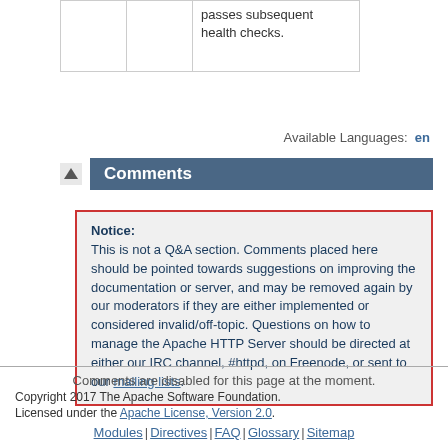|  |  | passes subsequent health checks. |
Available Languages: en
Comments
Notice: This is not a Q&A section. Comments placed here should be pointed towards suggestions on improving the documentation or server, and may be removed again by our moderators if they are either implemented or considered invalid/off-topic. Questions on how to manage the Apache HTTP Server should be directed at either our IRC channel, #httpd, on Freenode, or sent to our mailing lists.
Comments are disabled for this page at the moment.
Copyright 2017 The Apache Software Foundation.
Licensed under the Apache License, Version 2.0.
Modules | Directives | FAQ | Glossary | Sitemap